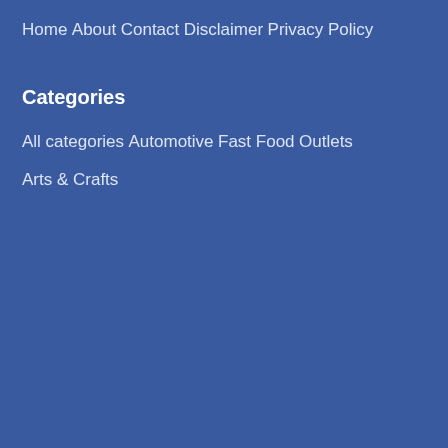Home
About
Contact
Disclaimer
Privacy Policy
Categories
All categories
Automotive
Fast Food
Outlets
Arts & Crafts